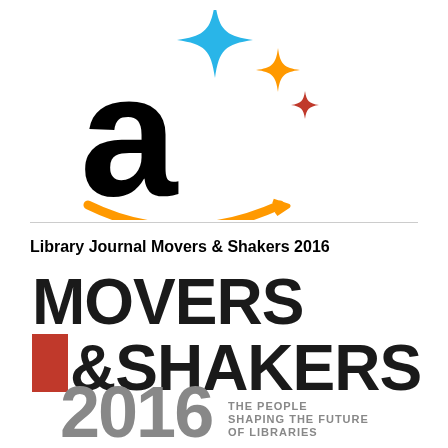[Figure (logo): Amazon logo with sparkle/star accents in blue, orange, and red above the Amazon 'a' with orange smile arrow]
Library Journal Movers & Shakers 2016
[Figure (logo): Movers & Shakers 2016 logo — large sans-serif text 'MOVERS' on top, '& SHAKERS' below with a red square block before the ampersand, and '2016' in large gray text with 'THE PEOPLE SHAPING THE FUTURE OF LIBRARIES' in smaller gray text to the right]